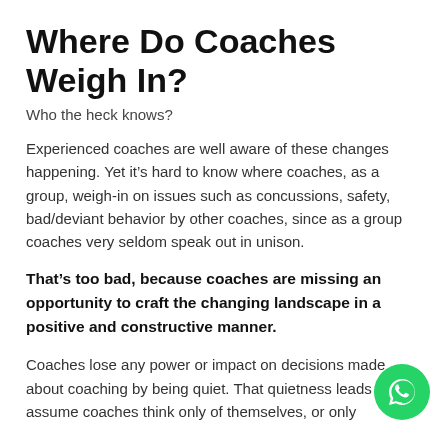Where Do Coaches Weigh In?
Who the heck knows?
Experienced coaches are well aware of these changes happening. Yet it’s hard to know where coaches, as a group, weigh-in on issues such as concussions, safety, bad/deviant behavior by other coaches, since as a group coaches very seldom speak out in unison.
That’s too bad, because coaches are missing an opportunity to craft the changing landscape in a positive and constructive manner.
Coaches lose any power or impact on decisions made about coaching by being quiet. That quietness leads to assume coaches think only of themselves, or only …